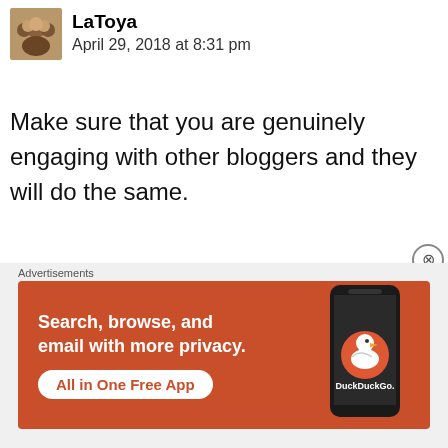LaToya
April 29, 2018 at 8:31 pm
Make sure that you are genuinely engaging with other bloggers and they will do the same.
★ Like
Reply
[Figure (infographic): DuckDuckGo advertisement banner: orange background with white text 'Search, browse, and email with more privacy.' and a white pill button 'All in One Free App', with a smartphone showing the DuckDuckGo logo on the right side.]